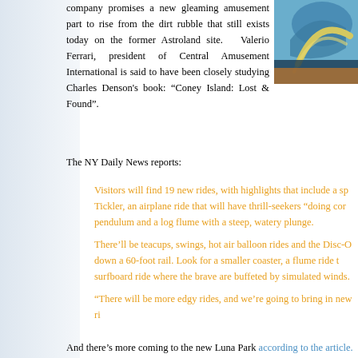[Figure (photo): Partial photo of a roller coaster or amusement park ride, visible in the top-right corner, showing blue and metallic elements.]
company promises a new gleaming amusement part to rise from the dirt rubble that still exists today on the former Astroland site.   Valerio Ferrari, president of Central Amusement International is said to have been closely studying Charles Denson's book: "Coney Island: Lost & Found".
The NY Daily News reports:
Visitors will find 19 new rides, with highlights that include a sp... Tickler, an airplane ride that will have thrill-seekers "doing cor... pendulum and a log flume with a steep, watery plunge.
There'll be teacups, swings, hot air balloon rides and the Disc-O... down a 60-foot rail. Look for a smaller coaster, a flume ride t... surfboard ride where the brave are buffeted by simulated winds.
"There will be more edgy rides, and we're going to bring in new ri...
And there's more coming to the new Luna Park according to the article.